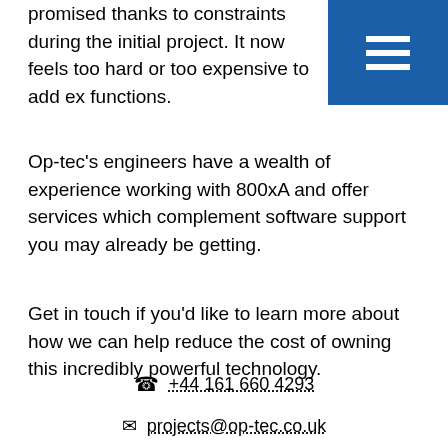promised thanks to constraints during the initial project. It now feels too hard or too expensive to add ex functions.
[Figure (other): Blue square button with white hamburger menu icon (three horizontal lines)]
Op-tec's engineers have a wealth of experience working with 800xA and offer services which complement software support you may already be getting.
Get in touch if you'd like to learn more about how we can help reduce the cost of owning this incredibly powerful technology.
+44 161 660 4293
projects@op-tec.co.uk